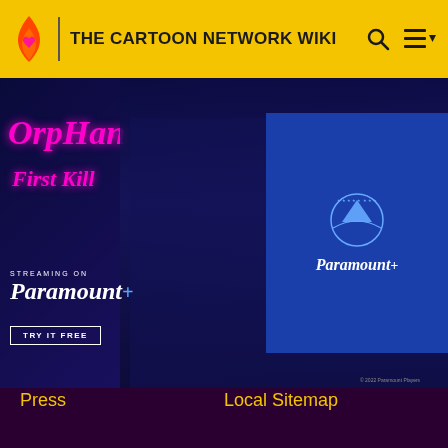THE CARTOON NETWORK WIKI
[Figure (screenshot): Orphan First Kill movie ad banner for Paramount+. Dark blue/purple background with a young girl's face. Text: ORPHAN First Kill, STREAMING ON Paramount+, TRY IT FREE. Right side shows Paramount+ logo on blue background. Small Paramount Movie logo top left. Close X button top right. ADVERTISEMENT label at top.]
Press
Local Sitemap
Contact
COMMUNITY
Community Central
Help
Support